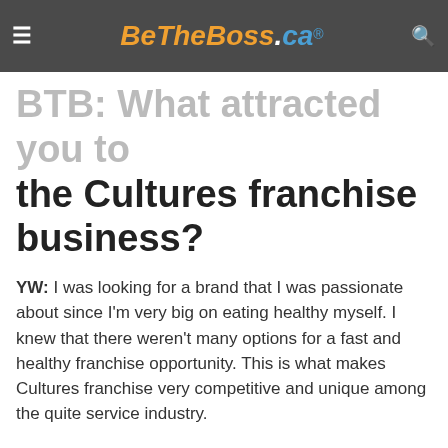BeTheBoss.ca
BTB: What attracted you to the Cultures franchise business?
YW: I was looking for a brand that I was passionate about since I'm very big on eating healthy myself. I knew that there weren't many options for a fast and healthy franchise opportunity. This is what makes Cultures franchise very competitive and unique among the quite service industry.
BTB: What kind of support did you receive from Cultures franchise to help